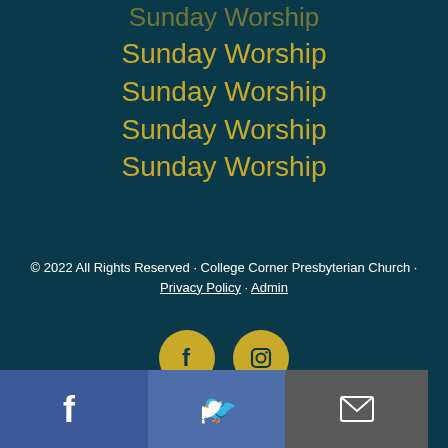Sunday Worship
Sunday Worship
Sunday Worship
Sunday Worship
Sunday Worship
© 2022 All Rights Reserved · College Corner Presbyterian Church · Privacy Policy · Admin
[Figure (other): Two golden circular social media icons: Facebook (f) and Instagram (camera icon)]
[Figure (other): Bottom share bar with Facebook (blue), Twitter (medium blue), and Email (gray) icon buttons]